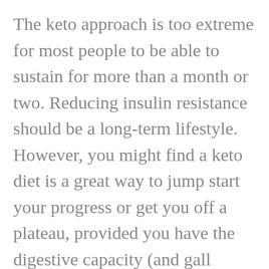The keto approach is too extreme for most people to be able to sustain for more than a month or two. Reducing insulin resistance should be a long-term lifestyle. However, you might find a keto diet is a great way to jump start your progress or get you off a plateau, provided you have the digestive capacity (and gall bladder function) to increase your proteins and fats that dramatically. If you don't feel well doing keto, you're just as well off to simply keep your carbs under 100 grams per day if you are moderately active or under 50 grams per day if you are largely